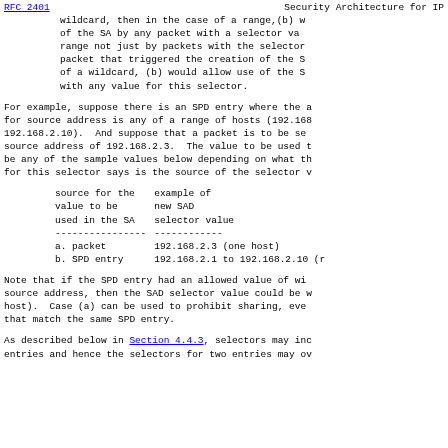RFC 2401   Security Architecture for IP
wildcard, then in the case of a range,(b) w of the SA by any packet with a selector va range not just by packets with the selector packet that triggered the creation of the S of a wildcard, (b) would allow use of the S with any value for this selector.
For example, suppose there is an SPD entry where the a for source address is any of a range of hosts (192.168 192.168.2.10).  And suppose that a packet is to be se source address of 192.168.2.3.  The value to be used t be any of the sample values below depending on what th for this selector says is the source of the selector v
| source for the value to be used in the SA | example of new SAD selector value |
| --- | --- |
| a. packet | 192.168.2.3 (one host) |
| b. SPD entry | 192.168.2.1 to 192.168.2.10 (r |
Note that if the SPD entry had an allowed value of wi source address, then the SAD selector value could be w host).  Case (a) can be used to prohibit sharing, eve that match the same SPD entry.
As described below in Section 4.4.3, selectors may inc entries and hence the selectors for two entries may ov